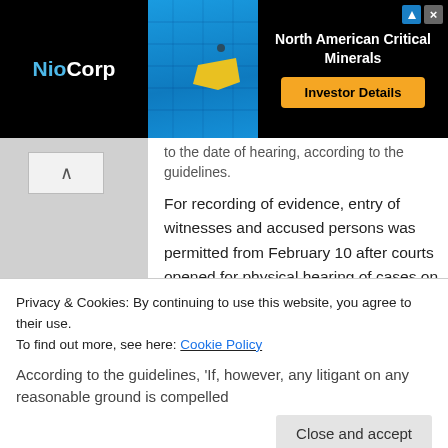[Figure (screenshot): NioCorp advertisement banner showing logo, US map with yellow highlight, and 'North American Critical Minerals' with 'Investor Details' button]
to the date of hearing, according to the guidelines.
For recording of evidence, entry of witnesses and accused persons was permitted from February 10 after courts opened for physical hearing of cases on February 8. However, their entry was subjected to strict compliance of standard operating procedures (SOPs) related to containment of COVID-19.
Before courts opened for physical hearing after nearly a year-long suspension due to the
Privacy & Cookies: By continuing to use this website, you agree to their use.
To find out more, see here: Cookie Policy
According to the guidelines, 'If, however, any litigant on any reasonable ground is compelled